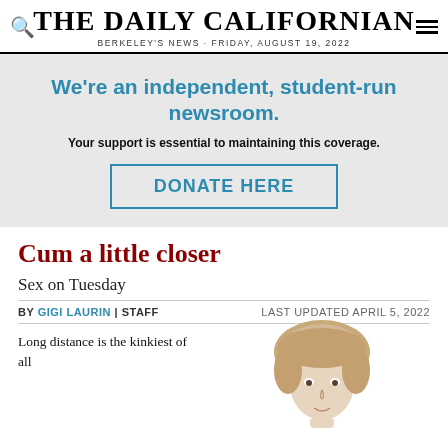THE DAILY CALIFORNIAN
BERKELEY'S NEWS · FRIDAY, AUGUST 19, 2022
We're an independent, student-run newsroom.
Your support is essential to maintaining this coverage.
DONATE HERE
Cum a little closer
Sex on Tuesday
BY GIGI LAURIN | STAFF    LAST UPDATED APRIL 5, 2022
Long distance is the kinkiest of all
[Figure (photo): Headshot photo of a person with blonde/brown hair]